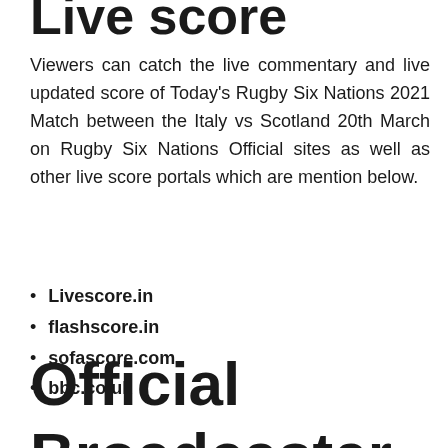Live score
Viewers can catch the live commentary and live updated score of Today's Rugby Six Nations 2021 Match between the Italy vs Scotland 20th March on Rugby Six Nations Official sites as well as other live score portals which are mention below.
Livescore.in
flashscore.in
sofascore.com
bbc.co.uk
Official TV Broadcaster Where you watch the live